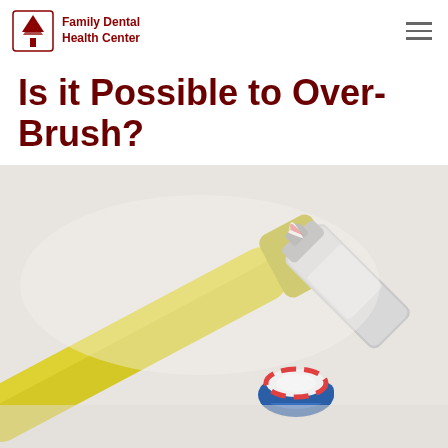Family Dental Health Center
Is it Possible to Over-Brush?
[Figure (photo): Close-up photo of a yellow toothbrush with colorful toothpaste being applied from a toothpaste tube, on a light background]